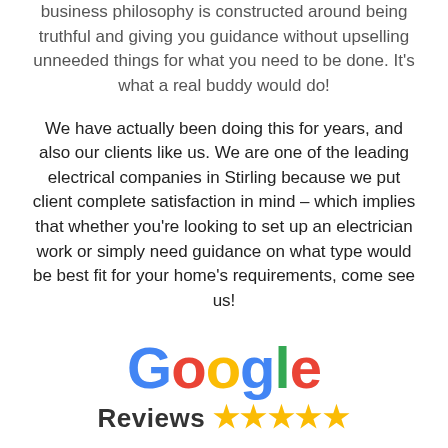business philosophy is constructed around being truthful and giving you guidance without upselling unneeded things for what you need to be done. It's what a real buddy would do!
We have actually been doing this for years, and also our clients like us. We are one of the leading electrical companies in Stirling because we put client complete satisfaction in mind – which implies that whether you're looking to set up an electrician work or simply need guidance on what type would be best fit for your home's requirements, come see us!
[Figure (logo): Google Reviews logo with five gold stars]